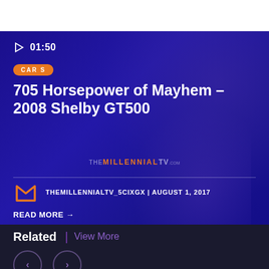[Figure (screenshot): Video thumbnail/hero banner with dark blue/indigo background showing a 1:50 video duration indicator, category badge, article title, author info, and read more link for a car article about a 2008 Shelby GT500]
01:50
CAR S
705 Horsepower of Mayhem – 2008 Shelby GT500
THEMILLENNIALTV_5CIXGX | AUGUST 1, 2017
READ MORE →
Related | View More